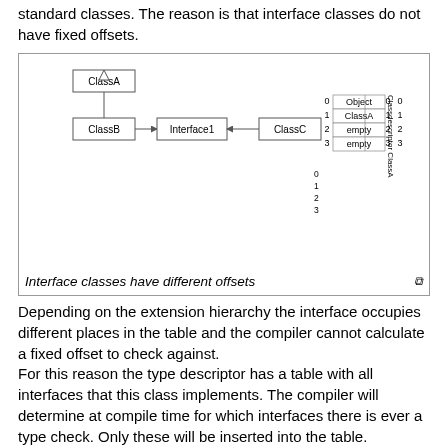standard classes. The reason is that interface classes do not have fixed offsets.
[Figure (engineering-diagram): UML class diagram showing ClassA at top, ClassB extending ClassA with arrow to Interface1, ClassC also pointing to Interface1. Three class descriptor tables on the right showing different offsets for ClassA, ClassB, and ClassC with entries: Object, ClassA/Interface1, empty/Interface1/ClassC, empty/ClassB/empty.]
Interface classes have different offsets
Depending on the extension hierarchy the interface occupies different places in the table and the compiler cannot calculate a fixed offset to check against. For this reason the type descriptor has a table with all interfaces that this class implements. The compiler will determine at compile time for which interfaces there is ever a type check. Only these will be inserted into the table.
[Figure (engineering-diagram): Memory layout diagram showing a structure with dotted top, a solid box for 'size' field with an arrow pointing to it, and a box below for 'classNameAddr'.]